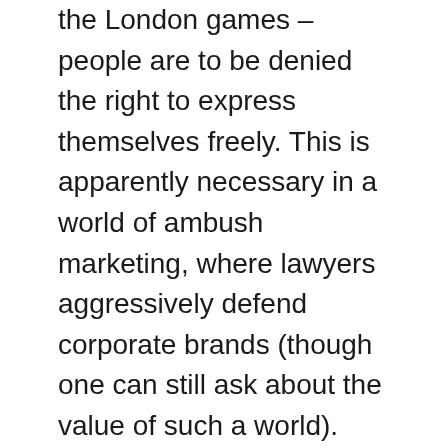the London games – people are to be denied the right to express themselves freely. This is apparently necessary in a world of ambush marketing, where lawyers aggressively defend corporate brands (though one can still ask about the value of such a world).
But it is one thing to prevent a business from stealing a marketing opportunity its rival has paid for and quite another to prevent a woman carrying the Olympic torch from wearing a charity bracelet. Elsewhere the 'Lympic Café has been forced to remove the first letter of its name, police have been told to eat crisps from plain bags while patrolling the rowing at Eton and a florist in Stoke on Trent has been refused permission to display the Olympic